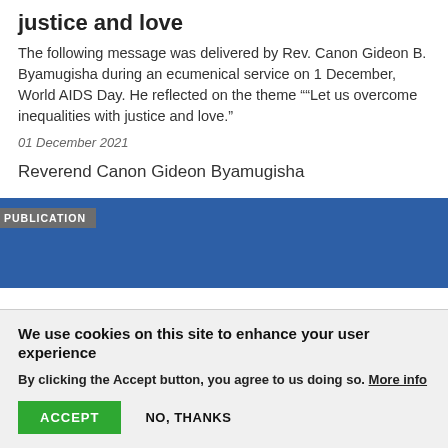justice and love
The following message was delivered by Rev. Canon Gideon B. Byamugisha during an ecumenical service on 1 December, World AIDS Day. He reflected on the theme "“Let us overcome inequalities with justice and love.”
01 December 2021
Reverend Canon Gideon Byamugisha
[Figure (other): Blue publication banner with a grey label reading PUBLICATION in the top-left corner]
We use cookies on this site to enhance your user experience
By clicking the Accept button, you agree to us doing so. More info
ACCEPT   NO, THANKS